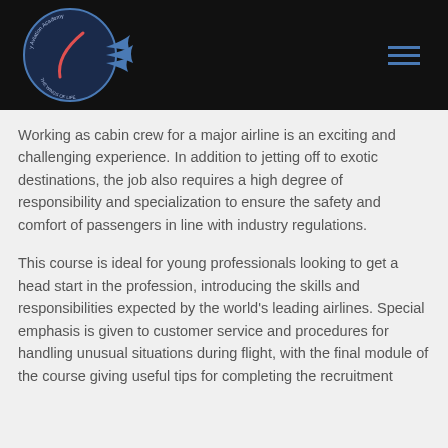[Figure (logo): Sky Aviation Academy circular logo with wings on dark header bar, and hamburger menu icon on the right]
Working as cabin crew for a major airline is an exciting and challenging experience. In addition to jetting off to exotic destinations, the job also requires a high degree of responsibility and specialization to ensure the safety and comfort of passengers in line with industry regulations.
This course is ideal for young professionals looking to get a head start in the profession, introducing the skills and responsibilities expected by the world's leading airlines. Special emphasis is given to customer service and procedures for handling unusual situations during flight, with the final module of the course giving useful tips for completing the recruitment